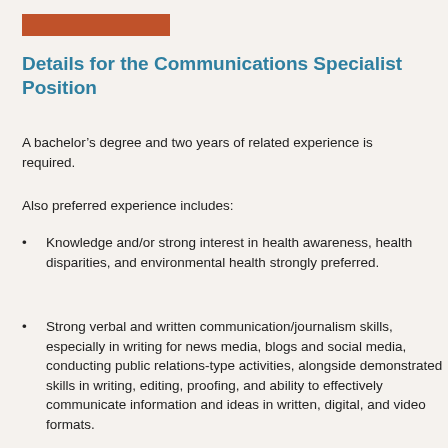Details for the Communications Specialist Position
A bachelor’s degree and two years of related experience is required.
Also preferred experience includes:
Knowledge and/or strong interest in health awareness, health disparities, and environmental health strongly preferred.
Strong verbal and written communication/journalism skills, especially in writing for news media, blogs and social media, conducting public relations-type activities, alongside demonstrated skills in writing, editing, proofing, and ability to effectively communicate information and ideas in written, digital, and video formats.